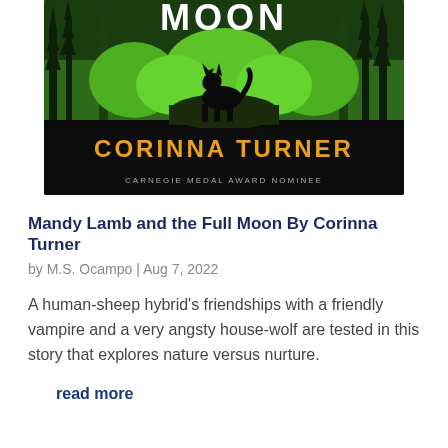[Figure (illustration): Book cover of 'Mandy Lamb and the Full Moon' by Corinna Turner. Green and dark themed cover with a wolf silhouette howling, trees in the background, text 'MOON' at top in white, author name 'CORINNA TURNER' in large orange letters, subtitle 'CARNEGIE MEDAL AWARD NOMINEE' in small white text at bottom.]
Mandy Lamb and the Full Moon By Corinna Turner
by M.S. Ocampo | Aug 7, 2022
A human-sheep hybrid's friendships with a friendly vampire and a very angsty house-wolf are tested in this story that explores nature versus nurture.
read more